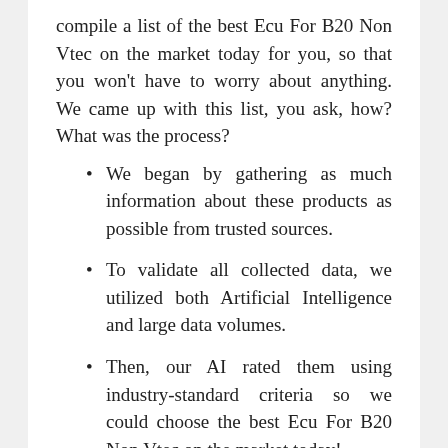compile a list of the best Ecu For B20 Non Vtec on the market today for you, so that you won't have to worry about anything. We came up with this list, you ask, how? What was the process?
We began by gathering as much information about these products as possible from trusted sources.
To validate all collected data, we utilized both Artificial Intelligence and large data volumes.
Then, our AI rated them using industry-standard criteria so we could choose the best Ecu For B20 Non Vtec on the market today!
Products aren't picked at random. Before